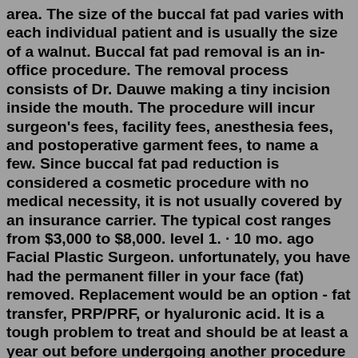area. The size of the buccal fat pad varies with each individual patient and is usually the size of a walnut. Buccal fat pad removal is an in-office procedure. The removal process consists of Dr. Dauwe making a tiny incision inside the mouth. The procedure will incur surgeon's fees, facility fees, anesthesia fees, and postoperative garment fees, to name a few. Since buccal fat pad reduction is considered a cosmetic procedure with no medical necessity, it is not usually covered by an insurance carrier. The typical cost ranges from $3,000 to $8,000. level 1. · 10 mo. ago Facial Plastic Surgeon. unfortunately, you have had the permanent filler in your face (fat) removed. Replacement would be an option - fat transfer, PRP/PRF, or hyaluronic acid. It is a tough problem to treat and should be at least a year out before undergoing another procedure to allow for swelling to come down. 21. level 2.Microneedling with PRP (platelet-rich plasma) or the vampire facial costs $750 per treatment and $1950 for 3 treatments. The cost of treatments for the face only costs $850 f...